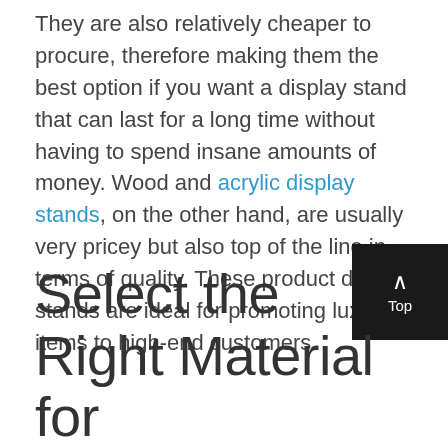They are also relatively cheaper to procure, therefore making them the best option if you want a display stand that can last for a long time without having to spend insane amounts of money. Wood and acrylic display stands, on the other hand, are usually very pricey but also top of the line in terms of quality. These product display stands are ideal for promoting luxury items to high-end customers.
Select the Right Material for